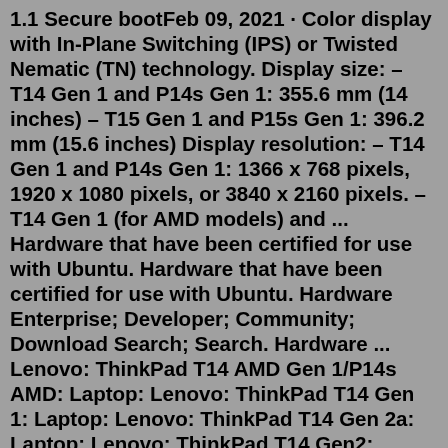1.1 Secure bootFeb 09, 2021 · Color display with In-Plane Switching (IPS) or Twisted Nematic (TN) technology. Display size: – T14 Gen 1 and P14s Gen 1: 355.6 mm (14 inches) – T15 Gen 1 and P15s Gen 1: 396.2 mm (15.6 inches) Display resolution: – T14 Gen 1 and P14s Gen 1: 1366 x 768 pixels, 1920 x 1080 pixels, or 3840 x 2160 pixels. – T14 Gen 1 (for AMD models) and ... Hardware that have been certified for use with Ubuntu. Hardware that have been certified for use with Ubuntu. Hardware Enterprise; Developer; Community; Download Search; Search. Hardware ... Lenovo: ThinkPad T14 AMD Gen 1/P14s AMD: Laptop: Lenovo: ThinkPad T14 Gen 1: Laptop: Lenovo: ThinkPad T14 Gen 2a: Laptop: Lenovo: ThinkPad T14 Gen2: Laptop ...Sep 24, 2020 · A further 27 models of desktop and laptop computers will come with Ubuntu pre-installed (via arstechnica (opens in new tab)). ThinkPad T14 (Intel and AMD) ThinkPad T14s (Intel and AMD) Lenovo on toimittanut yli 100 miljoonaa ThinkPad-tietokonetta,